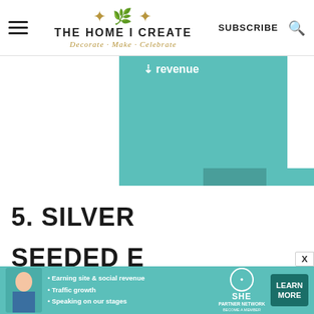THE HOME I CREATE — Decorate · Make · Celebrate
[Figure (screenshot): Partial screenshot of a teal bar chart showing revenue data, with text label 'revenue' visible at top left of the chart area]
5. SILVER SEEDED E
Admittedly, I only started incorporating
[Figure (infographic): SHE Partner Network advertisement banner: Earning site & social revenue, Traffic growth, Speaking on our stages. LEARN MORE button. Become a Member.]